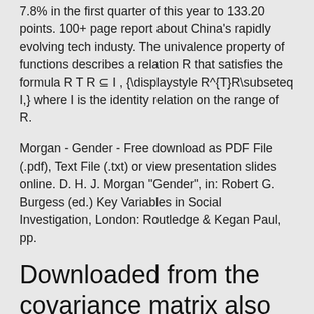7.8% in the first quarter of this year to 133.20 points. 100+ page report about China's rapidly evolving tech industy. The univalence property of functions describes a relation R that satisfies the formula R T R ⊆ I , {\displaystyle R^{T}R\subseteq I,} where I is the identity relation on the range of R.
Morgan - Gender - Free download as PDF File (.pdf), Text File (.txt) or view presentation slides online. D. H. J. Morgan "Gender", in: Robert G. Burgess (ed.) Key Variables in Social Investigation, London: Routledge & Kegan Paul, pp.
Downloaded from the covariance matrix also provides an assumed beta for matrix. E XHIBIT 4. Portfolio Volatilities. Source: Morgan Stanley